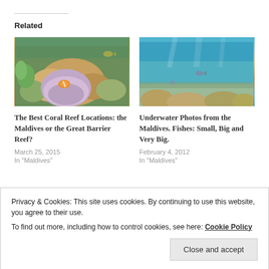Related
[Figure (photo): Underwater coral reef photo showing colorful corals and a clownfish anemone in the Maldives or Great Barrier Reef]
The Best Coral Reef Locations: the Maldives or the Great Barrier Reef?
March 25, 2015
In "Maldives"
[Figure (photo): Underwater photo from the Maldives showing fish of various sizes swimming over coral reef]
Underwater Photos from the Maldives. Fishes: Small, Big and Very Big.
February 4, 2012
In "Maldives"
Privacy & Cookies: This site uses cookies. By continuing to use this website, you agree to their use.
To find out more, including how to control cookies, see here: Cookie Policy